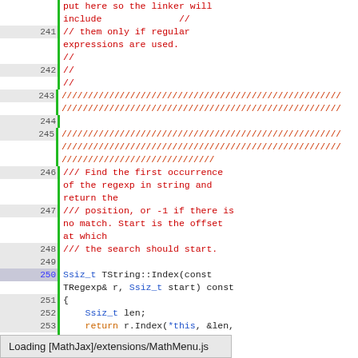[Figure (screenshot): Source code editor screenshot showing C++ code lines 241-256, with line numbers in gutter, green coverage bars, red comments including /// documentation comments and hatch pattern lines, and blue/orange syntax-highlighted code. A MathJax loading bar appears at the bottom.]